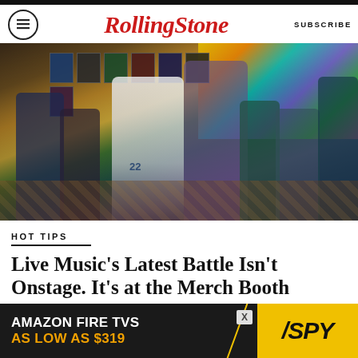Rolling Stone  SUBSCRIBE
[Figure (photo): People browsing a merch booth or memorabilia display inside a venue, with sports jerseys and artwork on the wall and a colorful LED display screen in the background. A person wearing a Kershaw #22 Dodgers jersey is visible.]
HOT TIPS
Live Music’s Latest Battle Isn’t Onstage. It’s at the Merch Booth
BY ETHAN MILLMAN
[Figure (other): Advertisement banner: AMAZON FIRE TVS AS LOW AS $319 / SPY logo]